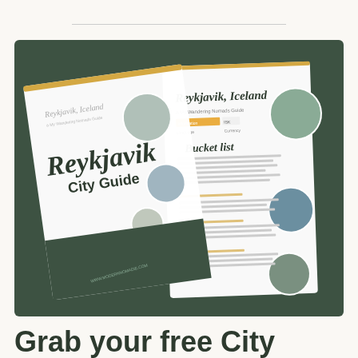[Figure (photo): A promotional image showing two printed travel guide booklets for 'Reykjavik City Guide' and 'Reykjavik, Iceland' (described as a Wandering Nomads Guide) placed on a dark green background. The front booklet shows the title 'Reykjavik City Guide' in large script and bold text with an orange accent bar. The back booklet shows an interior page with 'Bucket List' heading and circular photo insets of Reykjavik scenery.]
Grab your free City